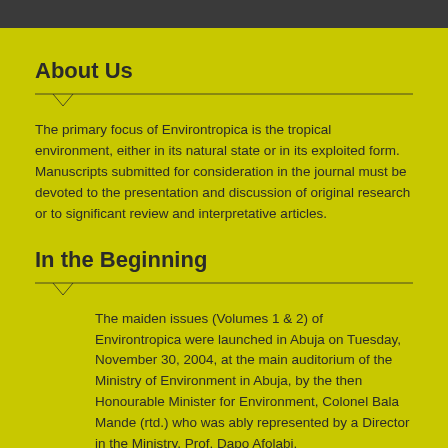About Us
The primary focus of Environtropica is the tropical environment, either in its natural state or in its exploited form. Manuscripts submitted for consideration in the journal must be devoted to the presentation and discussion of original research or to significant review and interpretative articles.
In the Beginning
The maiden issues (Volumes 1 & 2) of Environtropica were launched in Abuja on Tuesday, November 30, 2004, at the main auditorium of the Ministry of Environment in Abuja, by the then Honourable Minister for Environment, Colonel Bala Mande (rtd.) who was ably represented by a Director in the Ministry, Prof. Dapo Afolabi.